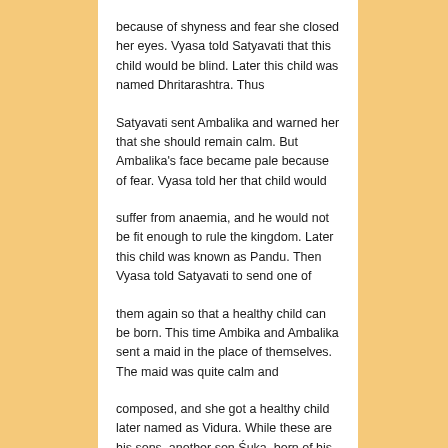because of shyness and fear she closed her eyes. Vyasa told Satyavati that this child would be blind. Later this child was named Dhritarashtra. Thus
Satyavati sent Ambalika and warned her that she should remain calm. But Ambalika's face became pale because of fear. Vyasa told her that child would
suffer from anaemia, and he would not be fit enough to rule the kingdom. Later this child was known as Pandu. Then Vyasa told Satyavati to send one of
them again so that a healthy child can be born. This time Ambika and Ambalika sent a maid in the place of themselves. The maid was quite calm and
composed, and she got a healthy child later named as Vidura. While these are his sons, another son Śuka, born of his wife, sage Jabali's daughter Pinjala